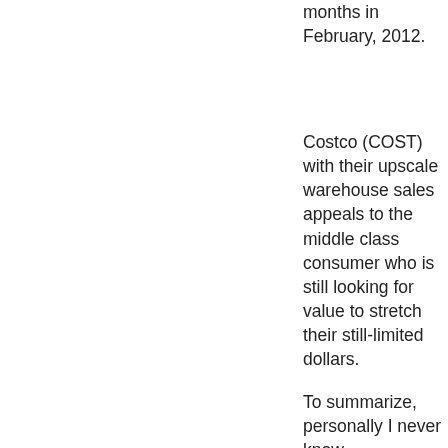months in February, 2012.
Costco (COST) with their upscale warehouse sales appeals to the middle class consumer who is still looking for value to stretch their still-limited dollars.
To summarize, personally I never know